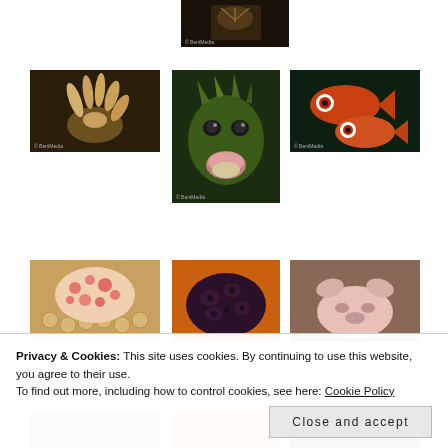[Figure (photo): Top center: close-up underwater photo of a sea creature, dark background, BentMedia watermark]
[Figure (photo): Row 1 left: close-up of coral or sea anemone with cream/tan tentacles, dark background, BentMedia watermark]
[Figure (photo): Row 1 center tall: frontal close-up of a spiky green fish (scorpionfish or similar) with open mouth, BentMedia watermark]
[Figure (photo): Row 1 right: two orange-red fish with bright red eyes, dark green background, BentMedia watermark]
[Figure (photo): Row 2 left: pink and white patterned sea creature (nudibranch or coral) among small polyps]
[Figure (photo): Row 2 center: dark purple and black textured marine animal (frogfish or similar) on orange background]
[Figure (photo): Row 2 right: pale pink frogfish or similar with distinctive ear-like protrusions]
[Figure (photo): Row 3 left (partial): marine creature, partially cut off]
[Figure (photo): Row 3 center (partial): orange marine creature, partially cut off]
[Figure (photo): Row 3 right (partial): blue-toned marine scene, partially cut off]
Privacy & Cookies: This site uses cookies. By continuing to use this website, you agree to their use.
To find out more, including how to control cookies, see here: Cookie Policy
Close and accept